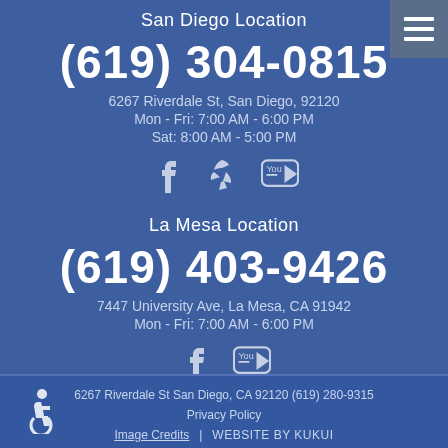San Diego Location
(619) 304-0815
6267 Riverdale St, San Diego, 92120
Mon - Fri: 7:00 AM - 6:00 PM
Sat: 8:00 AM - 5:00 PM
[Figure (other): Social media icons: Facebook, Yelp, YouTube]
La Mesa Location
(619) 403-9426
7447 University Ave, La Mesa, CA 91942
Mon - Fri: 7:00 AM - 6:00 PM
[Figure (other): Social media icons: Facebook, YouTube]
6267 Riverdale St San Diego, CA 92120 (619) 280-9315
Privacy Policy
Image Credits | WEBSITE BY KUKUI